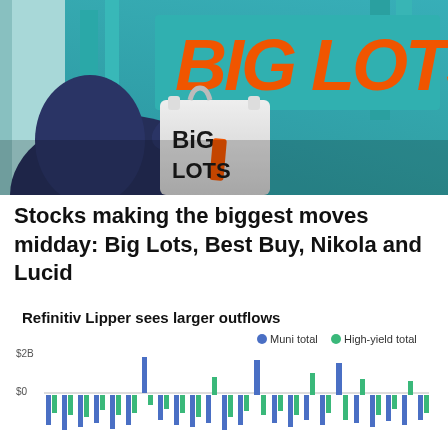[Figure (photo): A person holding a Big Lots shopping bag in front of a Big Lots store with teal facade and orange Big Lots sign]
Stocks making the biggest moves midday: Big Lots, Best Buy, Nikola and Lucid
[Figure (bar-chart): Bar chart showing Muni total and High-yield total outflows over time, with bars mostly below $0 and some spikes above $0 near $2B]